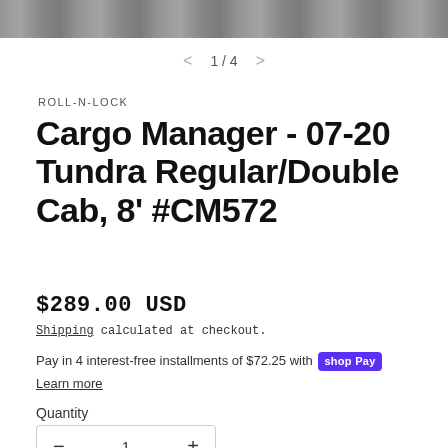[Figure (photo): Partial view of a truck bed cover photo at top of page]
1 / 4
ROLL-N-LOCK
Cargo Manager - 07-20 Tundra Regular/Double Cab, 8' #CM572
$289.00 USD
Shipping calculated at checkout.
Pay in 4 interest-free installments of $72.25 with shopPay
Learn more
Quantity
- 1 +